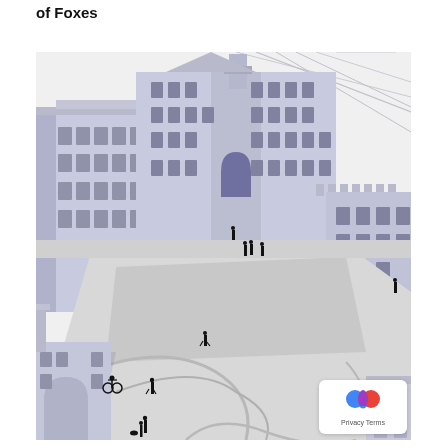of Foxes
[Figure (illustration): An aerial perspective architectural rendering of a large public square or plaza surrounded by Victorian/Edwardian-style brick buildings. The scene shows a bird's-eye view of the open space with small silhouetted human figures walking through the square. The buildings are rendered in a pale blue-grey/lavender color scheme. Curved pathways are visible in the lower portion of the image. A scrollable web interface element (Google cookie consent badge) is visible in the lower right corner.]